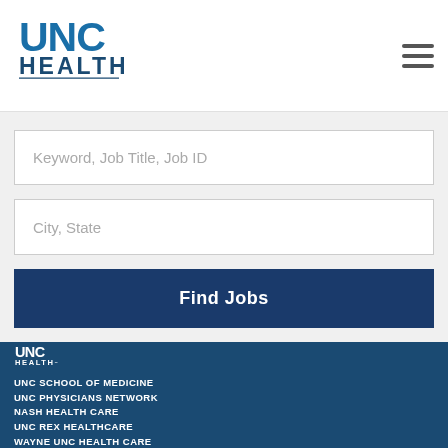[Figure (logo): UNC Health logo in blue]
Keyword, Job Title, Job ID
City, State
Find Jobs
[Figure (logo): UNC Health logo white in footer nav area]
UNC SCHOOL OF MEDICINE
UNC PHYSICIANS NETWORK
NASH HEALTH CARE
UNC REX HEALTHCARE
WAYNE UNC HEALTH CARE
LENOIR UNC HEALTH CARE
ONSLOW MEMORIAL HOSPITAL
UNC MEDICAL CENTER – CHAPEL HILL
UNC MEDICAL CENTER – HILLSBOROUGH